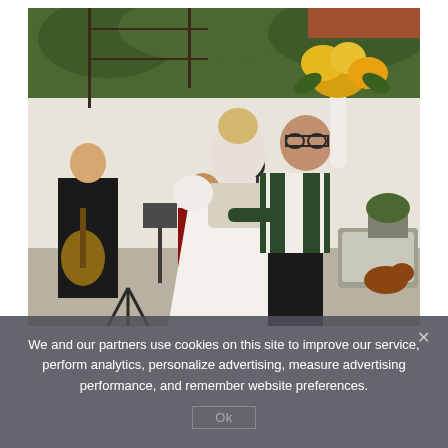[Figure (photo): Outdoor wedding scene showing a couple dancing. The woman wears a white traditional dirndl dress and the man wears a green vest, holding up a bouquet of sunflowers. In the background, musicians play guitar and accordion near a white building with green vines.]
We and our partners use cookies on this site to improve our service, perform analytics, personalize advertising, measure advertising performance, and remember website preferences.
Ok